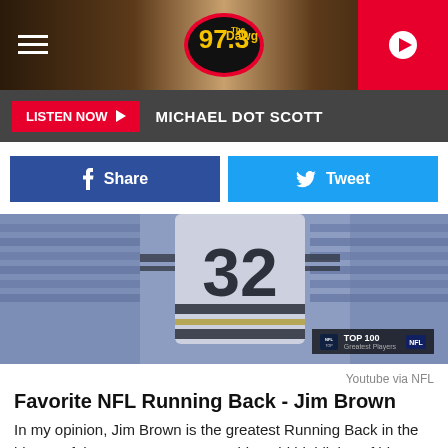97.3 The Dawg
LISTEN NOW  MICHAEL DOT SCOTT
Share  Tweet
[Figure (photo): Football player wearing jersey number 32, black and white archival photo with blue tint overlay. NFL Top 100 Greatest Players badge visible in lower right.]
Youtube via NFL
Favorite NFL Running Back - Jim Brown
In my opinion, Jim Brown is the greatest Running Back in the history of the NFL. I grew up watching old highlights of him running around, through, and past opposing defenders. His